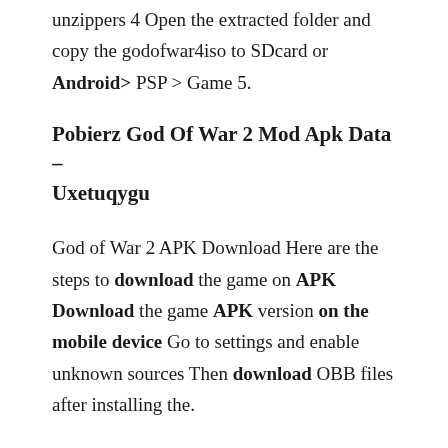unzippers 4 Open the extracted folder and copy the godofwar4iso to SDcard or Android> PSP > Game 5.
Pobierz God Of War 2 Mod Apk Data – Uxetuqygu
God of War 2 APK Download Here are the steps to download the game on APK Download the game APK version on the mobile device Go to settings and enable unknown sources Then download OBB files after installing the.
Download Game God Of War For Android Apk Data
Download God of War apk file by clicking the